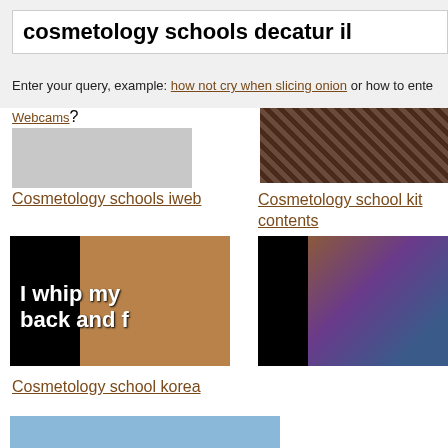cosmetology schools decatur il
Enter your query, example: how not cry when slicing onion or how to ente
Webcams?
[Figure (photo): Gray placeholder image thumbnail]
[Figure (photo): Close-up photo of person's face with dark hair]
Cosmetology schools iweb
Cosmetology school kit contents
[Figure (photo): Photo with text overlay reading 'I whip my back and f' over a person's face]
[Figure (photo): Cosmetology school kit contents photo]
Cosmetology school korea
[Figure (photo): Photo of Korean school building with yellow facade]